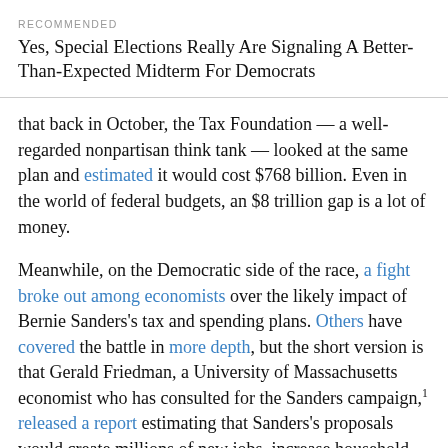RECOMMENDED
Yes, Special Elections Really Are Signaling A Better-Than-Expected Midterm For Democrats
that back in October, the Tax Foundation — a well-regarded nonpartisan think tank — looked at the same plan and estimated it would cost $768 billion. Even in the world of federal budgets, an $8 trillion gap is a lot of money.
Meanwhile, on the Democratic side of the race, a fight broke out among economists over the likely impact of Bernie Sanders's tax and spending plans. Others have covered the battle in more depth, but the short version is that Gerald Friedman, a University of Massachusetts economist who has consulted for the Sanders campaign,¹ released a report estimating that Sanders's proposals would create millions of new jobs, increase household incomes by tens of